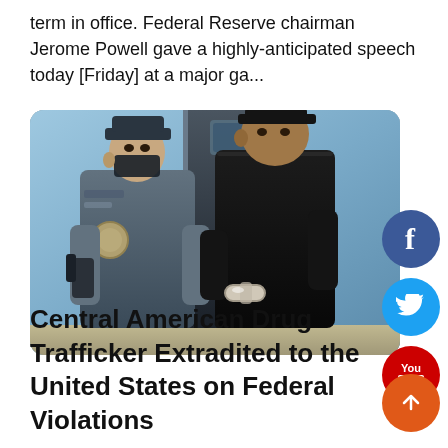term in office. Federal Reserve chairman Jerome Powell gave a highly-anticipated speech today [Friday] at a major ga...
[Figure (photo): A law enforcement officer in tactical gear and face mask escorts a man in a black t-shirt and cap, who appears to be handcuffed. The scene takes place near a vehicle or building doorway. Social media icons (Facebook, Twitter, YouTube) are overlaid on the right side of the image.]
Central American Drug Trafficker Extradited to the United States on Federal Violations